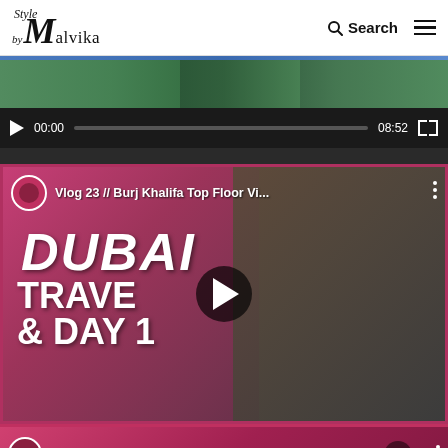Style by Malvika — Search — Navigation
[Figure (screenshot): Video player showing top portion of a video with green-toned thumbnail strip, play button, timestamp 00:00, progress bar, duration 08:52, fullscreen button]
[Figure (screenshot): YouTube embedded video thumbnail: Vlog 23 // Burj Khalifa Top Floor Vi... — Dubai Travel & Day 1, woman in floral outfit, with play button, timestamp 00:00, duration 10:02, fullscreen button]
[Figure (screenshot): YouTube embedded video thumbnail partially visible: How to Achieve Self Confidence //... with woman taking selfie]